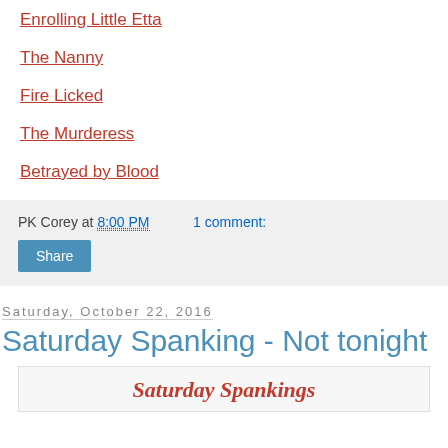Enrolling Little Etta
The Nanny
Fire Licked
The Murderess
Betrayed by Blood
PK Corey at 8:00 PM   1 comment:
Share
Saturday, October 22, 2016
Saturday Spanking - Not tonight
[Figure (illustration): Saturday Spankings logo/banner text in red italic serif font on a light gray box]